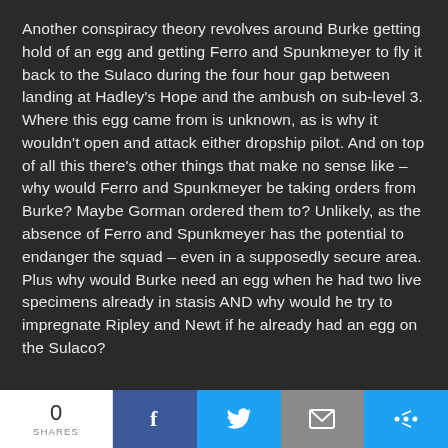Another conspiracy theory revolves around Burke getting hold of an egg and getting Ferro and Spunkmeyer to fly it back to the Sulaco during the four hour gap between landing at Hadley's Hope and the ambush on sub-level 3. Where this egg came from is unknown, as is why it wouldn't open and attack either dropship pilot. And on top of all this there's other things that make no sense like – why would Ferro and Spunkmeyer be taking orders from Burke? Maybe Gorman ordered them to? Unlikely, as the absence of Ferro and Spunkmeyer has the potential to endanger the squad – even in a supposedly secure area. Plus why would Burke need an egg when he had two live specimens already in stasis AND why would he try to impregnate Ripley and Newt if he already had an egg on the Sulaco?
0 SHARES | Facebook | Twitter | Email | More